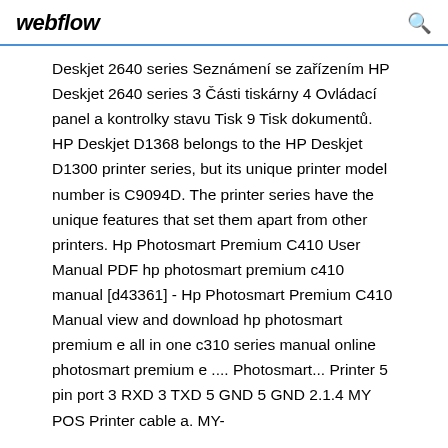webflow
Deskjet 2640 series Seznámení se zařízením HP Deskjet 2640 series 3 Části tiskárny 4 Ovládací panel a kontrolky stavu Tisk 9 Tisk dokumentů. HP Deskjet D1368 belongs to the HP Deskjet D1300 printer series, but its unique printer model number is C9094D. The printer series have the unique features that set them apart from other printers. Hp Photosmart Premium C410 User Manual PDF hp photosmart premium c410 manual [d43361] - Hp Photosmart Premium C410 Manual view and download hp photosmart premium e all in one c310 series manual online photosmart premium e .... Photosmart... Printer 5 pin port 3 RXD 3 TXD 5 GND 5 GND 2.1.4 MY POS Printer cable a. MY-